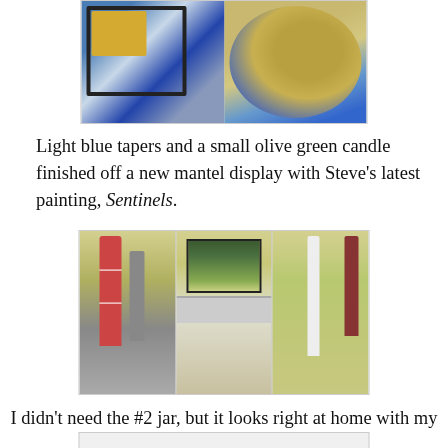[Figure (photo): Two-panel photo showing a wire grid with yellow flowers and a painted blue circle on left, and a large stone with blue paint spatters on right]
Light blue tapers and a small olive green candle finished off a new mantel display with Steve's latest painting, Sentinels.
[Figure (photo): Three-panel photo of mantel display: left shows red-striped and gray candlesticks, center shows fireplace with landscape painting above mantel, right shows white and dark red tall candlesticks]
I didn't need the #2 jar, but it looks right at home with my glass bottle display in the entry way.
[Figure (photo): Partial view of another photo at bottom of page]